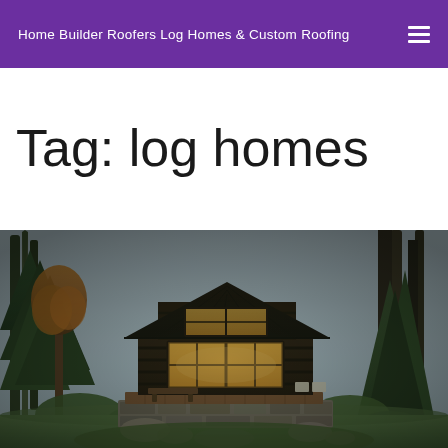Home Builder Roofers Log Homes & Custom Roofing
Tag: log homes
[Figure (photo): A log cabin home surrounded by tall pine and deciduous trees in a forest setting, with warm interior lights glowing through large windows. The cabin has a steep dark wood roof and a stone foundation with a wooden deck.]